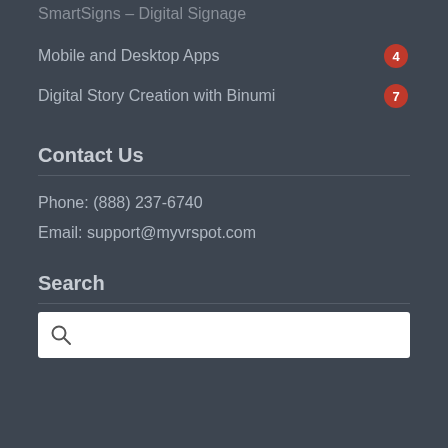SmartSigns – Digital Signage
Mobile and Desktop Apps 4
Digital Story Creation with Binumi 7
Contact Us
Phone: (888) 237-6740
Email: support@myvrspot.com
Search